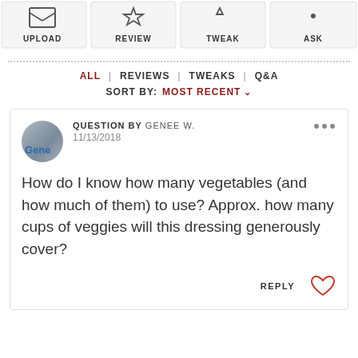[Figure (screenshot): Top navigation bar with four icon buttons: UPLOAD, REVIEW, TWEAK, ASK]
ALL  |  REVIEWS  |  TWEAKS  |  Q&A
SORT BY:  MOST RECENT  v
QUESTION BY GENEE W.
11/13/2018

How do I know how many vegetables (and how much of them) to use? Approx. how many cups of veggies will this dressing generously cover?

REPLY